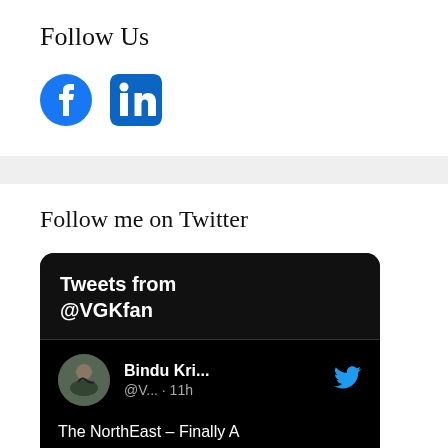Follow Us
[Figure (illustration): Facebook and LinkedIn social media icons]
[Figure (screenshot): Twitter widget showing Tweets from @VGKfan with a tweet by Bindu Kri... (@V...) posted 11h ago: 'The NorthEast – Finally A Part of India' with link 90rollsroyces.com/2022/09/]